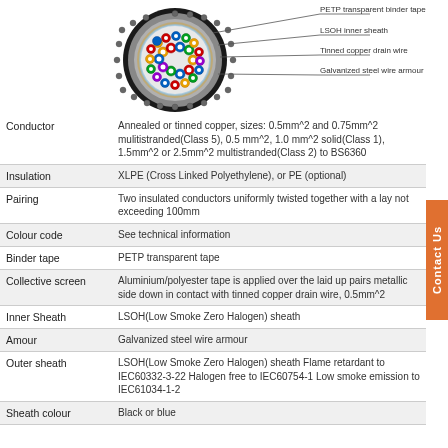[Figure (engineering-diagram): Cross-section diagram of a multi-pair armoured cable showing PETP transparent binder tape, LSOH inner sheath, Tinned copper drain wire, and Galvanized steel wire armour labels with leader lines.]
| Property | Description |
| --- | --- |
| Conductor | Annealed or tinned copper, sizes: 0.5mm^2 and 0.75mm^2 mulitistranded(Class 5), 0.5 mm^2, 1.0 mm^2 solid(Class 1), 1.5mm^2 or 2.5mm^2 multistranded(Class 2) to BS6360 |
| Insulation | XLPE (Cross Linked Polyethylene), or PE (optional) |
| Pairing | Two insulated conductors uniformly twisted together with a lay not exceeding 100mm |
| Colour code | See technical information |
| Binder tape | PETP transparent tape |
| Collective screen | Aluminium/polyester tape is applied over the laid up pairs metallic side down in contact with tinned copper drain wire, 0.5mm^2 |
| Inner Sheath | LSOH(Low Smoke Zero Halogen) sheath |
| Amour | Galvanized steel wire armour |
| Outer sheath | LSOH(Low Smoke Zero Halogen) sheath Flame retardant to IEC60332-3-22 Halogen free to IEC60754-1 Low smoke emission to IEC61034-1-2 |
| Sheath colour | Black or blue |